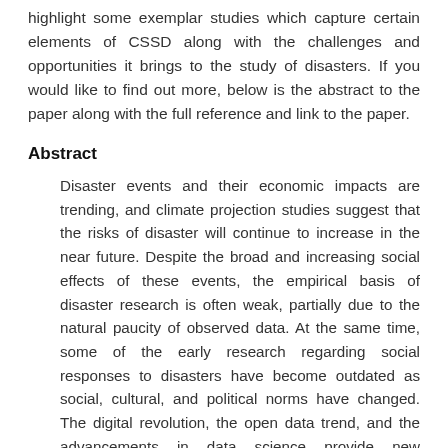highlight some exemplar studies which capture certain elements of CSSD along with the challenges and opportunities it brings to the study of disasters. If you would like to find out more, below is the abstract to the paper along with the full reference and link to the paper.
Abstract
Disaster events and their economic impacts are trending, and climate projection studies suggest that the risks of disaster will continue to increase in the near future. Despite the broad and increasing social effects of these events, the empirical basis of disaster research is often weak, partially due to the natural paucity of observed data. At the same time, some of the early research regarding social responses to disasters have become outdated as social, cultural, and political norms have changed. The digital revolution, the open data trend, and the advancements in data science provide new opportunities for social science disaster research. We introduce the autonomous statistically-social...